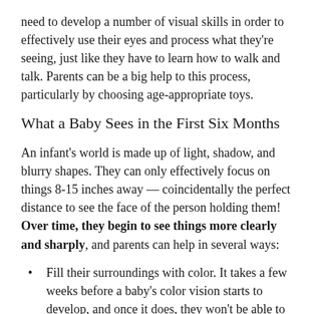need to develop a number of visual skills in order to effectively use their eyes and process what they're seeing, just like they have to learn how to walk and talk. Parents can be a big help to this process, particularly by choosing age-appropriate toys.
What a Baby Sees in the First Six Months
An infant's world is made up of light, shadow, and blurry shapes. They can only effectively focus on things 8-15 inches away — coincidentally the perfect distance to see the face of the person holding them! Over time, they begin to see things more clearly and sharply, and parents can help in several ways:
Fill their surroundings with color. It takes a few weeks before a baby's color vision starts to develop, and once it does, they won't be able to get enough of bright, pretty colors. That's why they enjoy mobiles.